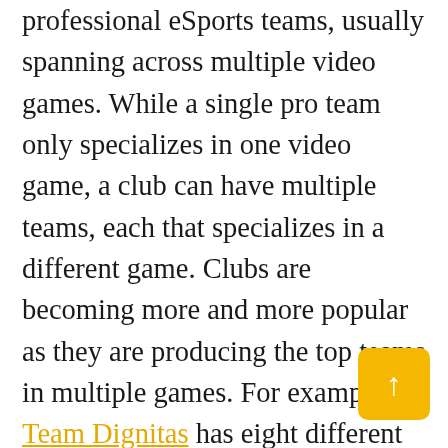professional eSports teams, usually spanning across multiple video games. While a single pro team only specializes in one video game, a club can have multiple teams, each that specializes in a different game. Clubs are becoming more and more popular as they are producing the top teams in multiple games. For example, Team Dignitas has eight different pro teams across eight different games. It's the same with Team Liquid, who has 14 teams across 14 various games. Most of these clubs started off with a single team that competed in a single video game. But their success and the rising popularity of eSports has enabled them to assemble multiple squads filled with top players from